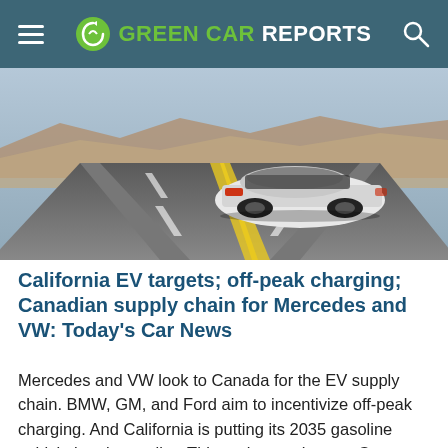GREEN CAR REPORTS
[Figure (photo): A white electric SUV driving on a highway road, seen from behind at an angle, with desert hills in the background.]
California EV targets; off-peak charging; Canadian supply chain for Mercedes and VW: Today's Car News
Mercedes and VW look to Canada for the EV supply chain. BMW, GM, and Ford aim to incentivize off-peak charging. And California is putting its 2035 gasoline vehicle ban into policy. This and more, here at Green Car Reports. California is making its